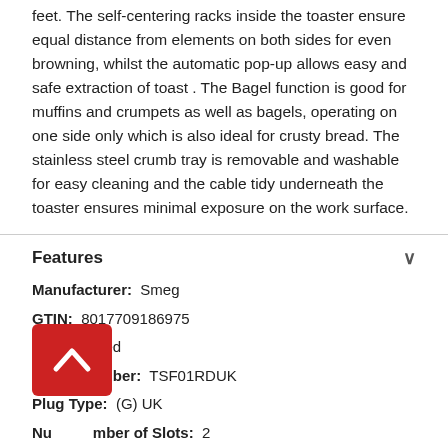feet. The self-centering racks inside the toaster ensure equal distance from elements on both sides for even browning, whilst the automatic pop-up allows easy and safe extraction of toast . The Bagel function is good for muffins and crumpets as well as bagels, operating on one side only which is also ideal for crusty bread. The stainless steel crumb tray is removable and washable for easy cleaning and the cable tidy underneath the toaster ensures minimal exposure on the work surface.
Features
Manufacturer: Smeg
GTIN: 8017709186975
Colour: Red
Model Number: TSF01RDUK
Plug Type: (G) UK
Number of Slots: 2
Appliance Voltage (V): 220-240
Type of Control | Appliances: Lever, Buttons, Control knobs